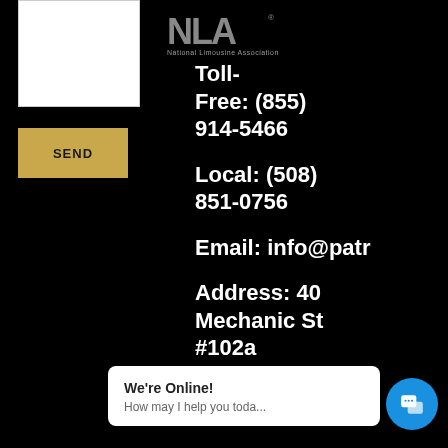[Figure (logo): National Limousine Association (NLA) logo with stylized text and subtitle]
[Figure (other): White textarea input box for contact form]
SEND
Toll-Free: (855) 914-5466
Local: (508) 851-0756
Email: info@patr
Address: 40 Mechanic St #102a
MA 02035
We're Online!
How may I help you toda...